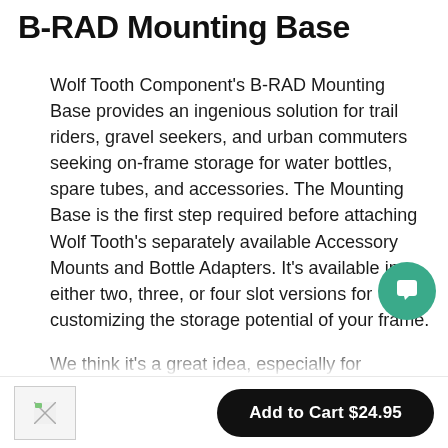B-RAD Mounting Base
Wolf Tooth Component's B-RAD Mounting Base provides an ingenious solution for trail riders, gravel seekers, and urban commuters seeking on-frame storage for water bottles, spare tubes, and accessories. The Mounting Base is the first step required before attaching Wolf Tooth's separately available Accessory Mounts and Bottle Adapters. It's available in either two, three, or four slot versions for customizing the storage potential of your frame.
We think it's a great idea, especially for
[Figure (other): Broken/placeholder product thumbnail image in bottom bar]
Add to Cart $24.95